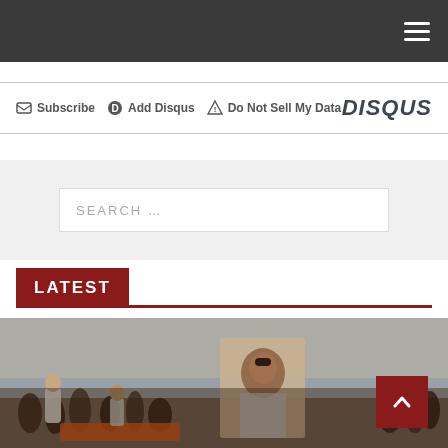Navigation header with hamburger menu
Subscribe  Add Disqus  Do Not Sell My Data  DISQUS
[Figure (screenshot): Search bar with placeholder text SEARCH ...]
LATEST
[Figure (photo): News photo showing a crowd scene with a large portrait of a religious/political figure being carried, protesters visible in background]